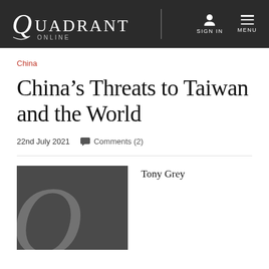QUADRANT ONLINE | SIGN IN | MENU
China
China’s Threats to Taiwan and the World
22nd July 2021    Comments (2)
[Figure (logo): Quadrant magazine logo - large grey Q on dark grey background]
Tony Grey